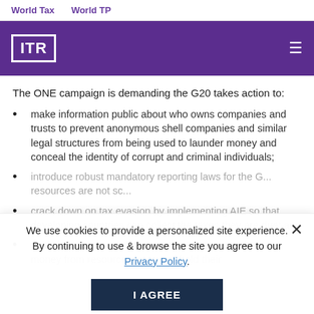World Tax    World TP
[Figure (logo): ITR logo — white box with ITR text on purple background header with hamburger menu]
The ONE campaign is demanding the G20 takes action to:
make information public about who owns companies and trusts to prevent anonymous shell companies and similar legal structures from being used to launder money and conceal the identity of corrupt and criminal individuals;
introduce robust mandatory reporting laws for the G... resources are not se...
crack down on tax evasion by implementing AIE so that developing ... collect the taxes they are due; and
publish government data, so citizens can see where the money from resources goes and hold their
We use cookies to provide a personalized site experience. By continuing to use & browse the site you agree to our Privacy Policy.